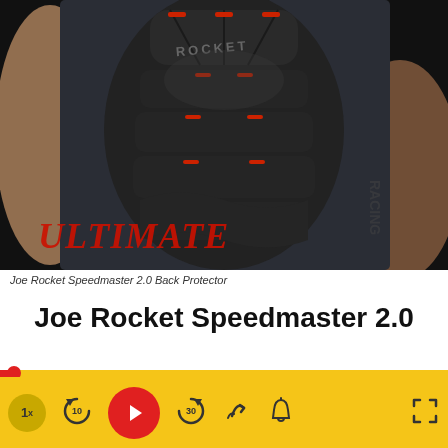[Figure (photo): Close-up photo of a Joe Rocket Speedmaster 2.0 Back Protector worn on a person's back. The protector is black with red accent details and segmented armor panels. The word ULTIMATE appears in red italic text at the bottom left of the image, and the Joe Rocket logo/branding is visible.]
Joe Rocket Speedmaster 2.0 Back Protector
Joe Rocket Speedmaster 2.0
[Figure (screenshot): Video player controls bar with yellow/gold background showing: 1x speed button, rewind 10 seconds button, red play button, fast-forward 30 seconds button, share button, notification bell button, and fullscreen button. A progress bar with red indicator is above the controls.]